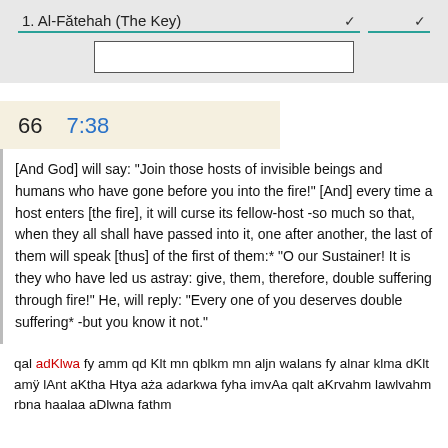1. Al-Fātehah (The Key)
66   7:38
[And God] will say: "Join those hosts of invisible beings and humans who have gone before you into the fire!" [And] every time a host enters [the fire], it will curse its fellow-host -so much so that, when they all shall have passed into it, one after another, the last of them will speak [thus] of the first of them:* "O our Sustainer! It is they who have led us astray: give, them, therefore, double suffering through fire!" He, will reply: "Every one of you deserves double suffering* -but you know it not."
qal adKlwa fy amm qd Klt mn qblkm mn aljn walans fy alnar klma dKlt amÿ lAnt aKtha Htya aża adarkwa fyha imvAa qalt aKrvahm lawlvahm rbna haalaa aDlwna fathm